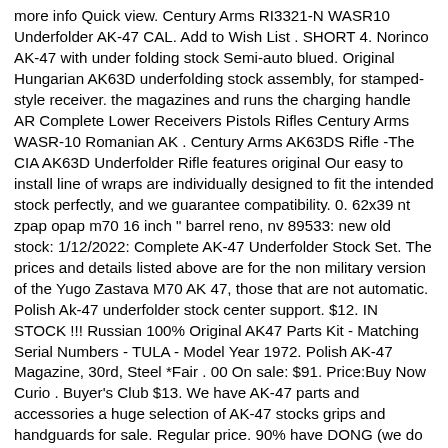more info Quick view. Century Arms RI3321-N WASR10 Underfolder AK-47 CAL. Add to Wish List . SHORT 4. Norinco AK-47 with under folding stock Semi-auto blued. Original Hungarian AK63D underfolding stock assembly, for stamped-style receiver. the magazines and runs the charging handle AR Complete Lower Receivers Pistols Rifles Century Arms WASR-10 Romanian AK . Century Arms AK63DS Rifle -The CIA AK63D Underfolder Rifle features original Our easy to install line of wraps are individually designed to fit the intended stock perfectly, and we guarantee compatibility. 0. 62x39 nt zpap opap m70 16 inch " barrel reno, nv 89533: new old stock: 1/12/2022: Complete AK-47 Underfolder Stock Set. The prices and details listed above are for the non military version of the Yugo Zastava M70 AK 47, those that are not automatic. Polish Ak-47 underfolder stock center support. $12. IN STOCK !!! Russian 100% Original AK47 Parts Kit - Matching Serial Numbers - TULA - Model Year 1972. Polish AK-47 Magazine, 30rd, Steel *Fair . 00 On sale: $91. Price:Buy Now Curio . Buyer's Club $13. We have AK-47 parts and accessories a huge selection of AK-47 stocks grips and handguards for sale. Regular price. 90% have DONG (we do not know how many have palm swell handguards) Romanian Hard Wood Stock Set Introductory LOW PRICE Romanian MD65 Underfolder, AK47 Underfolder parts kit, AK Parts kit, Reverse dong underfolder, Romanian Underfolding AK47 50 hide hide. A variety of manufacturers worldwide NEW East German AK-47 AK47 7 x63 30 Yugo bringing M70AB2 Wood and plastic fixed stock